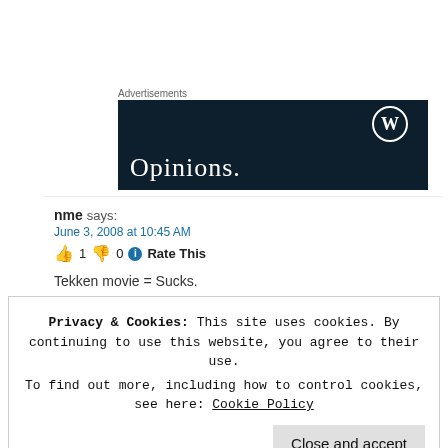Advertisements
[Figure (other): WordPress advertisement banner with dark navy background, WordPress logo (W in circle) top right, and text 'Opinions.' in serif font at bottom left]
nme says:
June 3, 2008 at 10:45 AM
👍 1 👎 0 ℹ Rate This

Tekken movie = Sucks.
Privacy & Cookies: This site uses cookies. By continuing to use this website, you agree to their use.
To find out more, including how to control cookies, see here: Cookie Policy
Close and accept